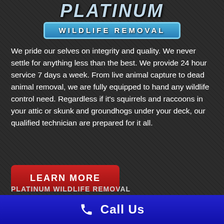[Figure (logo): Platinum Wildlife Removal logo with metallic text and blue badge]
We pride our selves on integrity and quality. We never settle for anything less than the best. We provide 24 hour service 7 days a week. From live animal capture to dead animal removal, we are fully equipped to hand any wildlife control need. Regardless if it's squirrels and raccoons in your attic or skunk and groundhogs under your deck, our qualified technician are prepared for it all.
LEARN MORE
PLATINUM WILDLIFE REMOVAL
Call Us